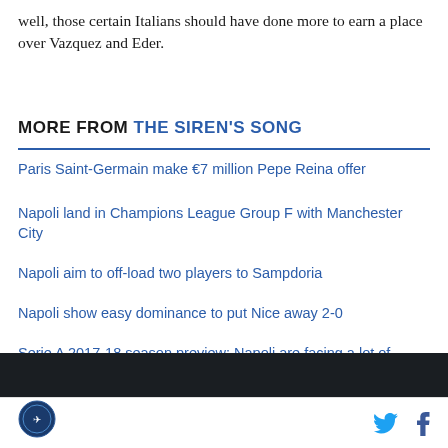well, those certain Italians should have done more to earn a place over Vazquez and Eder.
MORE FROM THE SIREN'S SONG
Paris Saint-Germain make €7 million Pepe Reina offer
Napoli land in Champions League Group F with Manchester City
Napoli aim to off-load two players to Sampdoria
Napoli show easy dominance to put Nice away 2-0
Serie A 2017-18 season preview: Napoli are facing a lot of pressure this year
[Figure (other): Dark banner bar at bottom of article]
Site logo and social media icons (Twitter, Facebook)